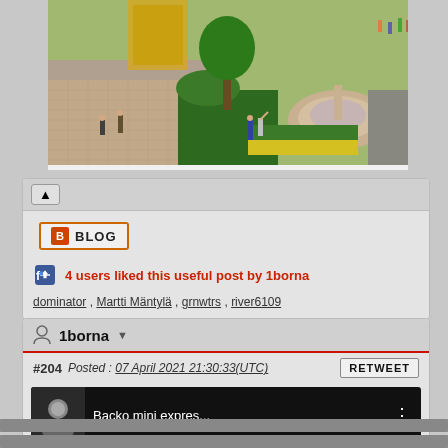[Figure (photo): Miniature model scene showing a park with small figurines, trees, yellow flowers, a fountain, and a paved walkway with a yellow vehicle in the background.]
BLOG
4 users liked this useful post by 1borna
dominator , Martti Mäntylä , grnwtrs , river6109
1borna
#204   Posted : 07 April 2021 21:30:33(UTC)
[Figure (screenshot): Video thumbnail showing 'Backo mini expres...' with a person avatar on dark background with three-dot menu icon.]